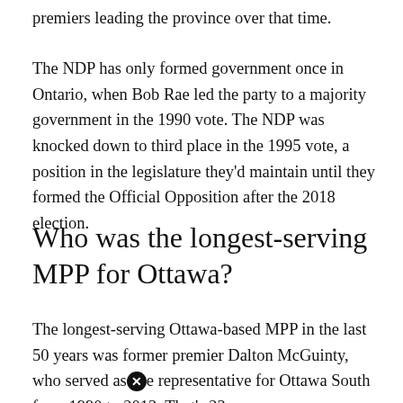premiers leading the province over that time.
The NDP has only formed government once in Ontario, when Bob Rae led the party to a majority government in the 1990 vote. The NDP was knocked down to third place in the 1995 vote, a position in the legislature they'd maintain until they formed the Official Opposition after the 2018 election.
Who was the longest-serving MPP for Ottawa?
The longest-serving Ottawa-based MPP in the last 50 years was former premier Dalton McGuinty, who served as the representative for Ottawa South from 1990 to 2013. That's 23 years